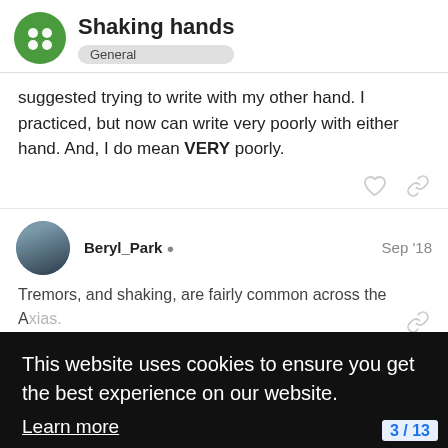Shaking hands — General
suggested trying to write with my other hand. I practiced, but now can write very poorly with either hand. And, I do mean VERY poorly.
Beryl_Park  Sep '18
Tremors, and shaking, are fairly common across the Ataxias. R... intentionally b...
This website uses cookies to ensure you get the best experience on our website. Learn more
Got it!
rosba  Sep '18
Dear Kay9
3 / 13